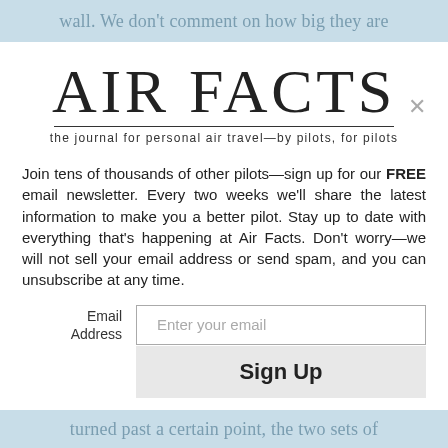wall. We don’t comment on how big they are
AIR FACTS
the journal for personal air travel—by pilots, for pilots
Join tens of thousands of other pilots—sign up for our FREE email newsletter. Every two weeks we’ll share the latest information to make you a better pilot. Stay up to date with everything that’s happening at Air Facts. Don’t worry—we will not sell your email address or send spam, and you can unsubscribe at any time.
turned past a certain point, the two sets of